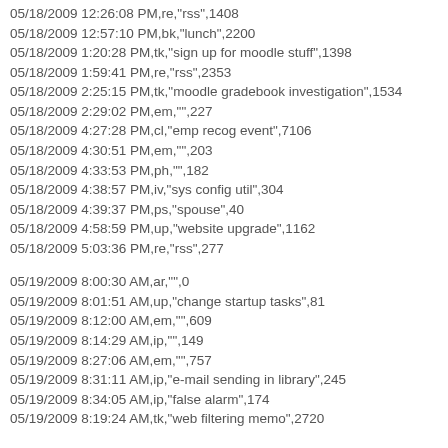05/18/2009 12:26:08 PM,re,"rss",1408
05/18/2009 12:57:10 PM,bk,"lunch",2200
05/18/2009 1:20:28 PM,tk,"sign up for moodle stuff",1398
05/18/2009 1:59:41 PM,re,"rss",2353
05/18/2009 2:25:15 PM,tk,"moodle gradebook investigation",1534
05/18/2009 2:29:02 PM,em,"",227
05/18/2009 4:27:28 PM,cl,"emp recog event",7106
05/18/2009 4:30:51 PM,em,"",203
05/18/2009 4:33:53 PM,ph,"",182
05/18/2009 4:38:57 PM,iv,"sys config util",304
05/18/2009 4:39:37 PM,ps,"spouse",40
05/18/2009 4:58:59 PM,up,"website upgrade",1162
05/18/2009 5:03:36 PM,re,"rss",277
05/19/2009 8:00:30 AM,ar,"",0
05/19/2009 8:01:51 AM,up,"change startup tasks",81
05/19/2009 8:12:00 AM,em,"",609
05/19/2009 8:14:29 AM,ip,"",149
05/19/2009 8:27:06 AM,em,"",757
05/19/2009 8:31:11 AM,ip,"e-mail sending in library",245
05/19/2009 8:34:05 AM,ip,"false alarm",174
05/19/2009 8:19:24 AM,tk,"web filtering memo",2720